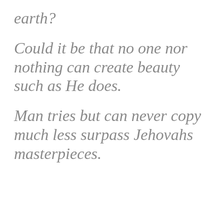earth?
Could it be that no one nor nothing can create beauty such as He does.
Man tries but can never copy much less surpass Jehovahs masterpieces.